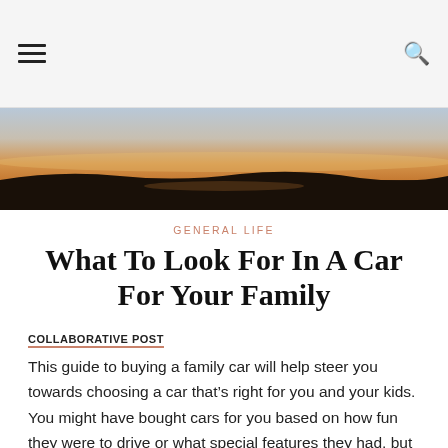☰  🔍
[Figure (photo): Landscape photo of a sunset over a body of water with dark silhouetted land, orange and gold sky tones, and a hazy horizon.]
GENERAL LIFE
What To Look For In A Car For Your Family
COLLABORATIVE POST
This guide to buying a family car will help steer you towards choosing a car that's right for you and your kids. You might have bought cars for you based on how fun they were to drive or what special features they had, but buying for the family is different, with lots more to consider, from the seats to onboard safety features.